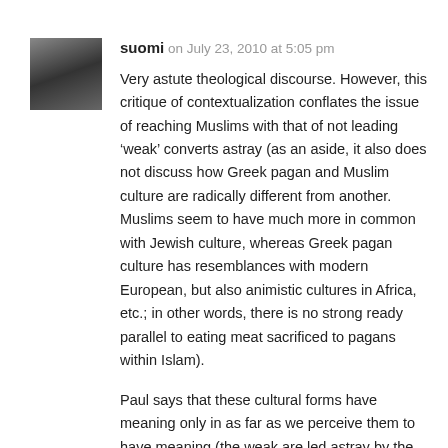[Figure (photo): Small square avatar thumbnail showing a dark blurry image, likely a person or object]
suomi on July 23, 2010 at 5:05 pm
Very astute theological discourse. However, this critique of contextualization conflates the issue of reaching Muslims with that of not leading ‘weak’ converts astray (as an aside, it also does not discuss how Greek pagan and Muslim culture are radically different from another. Muslims seem to have much more in common with Jewish culture, whereas Greek pagan culture has resemblances with modern European, but also animistic cultures in Africa, etc.; in other words, there is no strong ready parallel to eating meat sacrificed to pagans within Islam).
Paul says that these cultural forms have meaning only in as far as we perceive them to have meaning (the weak are led astray by the thought